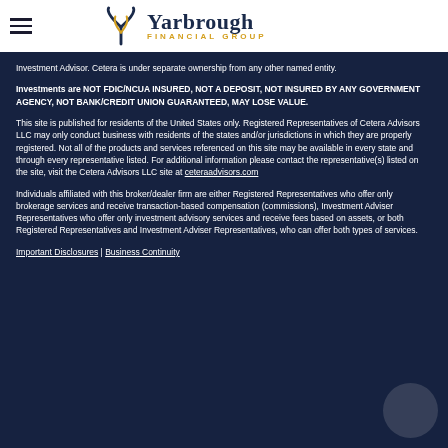Yarbrough Financial Group
Investment Advisor. Cetera is under separate ownership from any other named entity.
Investments are NOT FDIC/NCUA INSURED, NOT A DEPOSIT, NOT INSURED BY ANY GOVERNMENT AGENCY, NOT BANK/CREDIT UNION GUARANTEED, MAY LOSE VALUE.
This site is published for residents of the United States only. Registered Representatives of Cetera Advisors LLC may only conduct business with residents of the states and/or jurisdictions in which they are properly registered. Not all of the products and services referenced on this site may be available in every state and through every representative listed. For additional information please contact the representative(s) listed on the site, visit the Cetera Advisors LLC site at ceteraadvisors.com
Individuals affiliated with this broker/dealer firm are either Registered Representatives who offer only brokerage services and receive transaction-based compensation (commissions), Investment Adviser Representatives who offer only investment advisory services and receive fees based on assets, or both Registered Representatives and Investment Adviser Representatives, who can offer both types of services.
Important Disclosures | Business Continuity